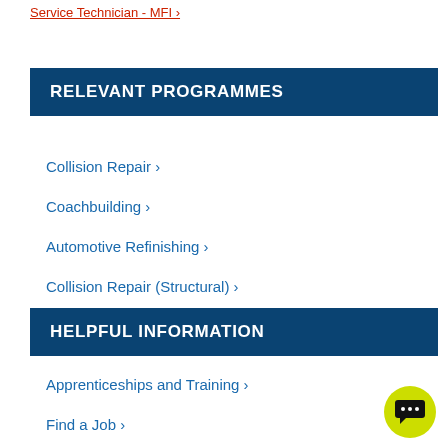Service Technician - MFI ›
RELEVANT PROGRAMMES
Collision Repair ›
Coachbuilding ›
Automotive Refinishing ›
Collision Repair (Structural) ›
HELPFUL INFORMATION
Apprenticeships and Training ›
Find a Job ›